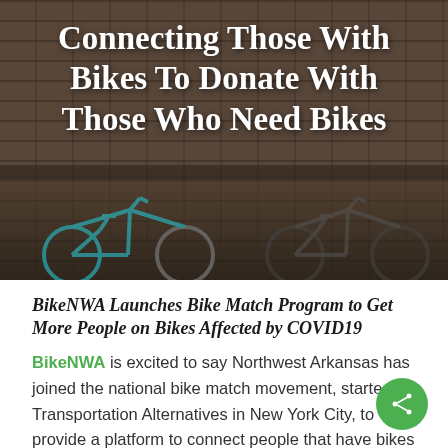[Figure (photo): Hero image showing bicycles leaned against a brick wall, with a dark overlay. White bold text overlaid reads: Connecting Those With Bikes To Donate With Those Who Need Bikes.]
Connecting Those With Bikes To Donate With Those Who Need Bikes
BikeNWA Launches Bike Match Program to Get More People on Bikes Affected by COVID19
BikeNWA is excited to say Northwest Arkansas has joined the national bike match movement, started by Transportation Alternatives in New York City, to provide a platform to connect people that have bikes